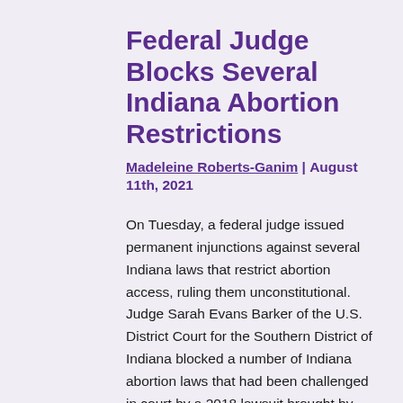Federal Judge Blocks Several Indiana Abortion Restrictions
Madeleine Roberts-Ganim | August 11th, 2021
On Tuesday, a federal judge issued permanent injunctions against several Indiana laws that restrict abortion access, ruling them unconstitutional. Judge Sarah Evans Barker of the U.S. District Court for the Southern District of Indiana blocked a number of Indiana abortion laws that had been challenged in court by a 2018 lawsuit brought by